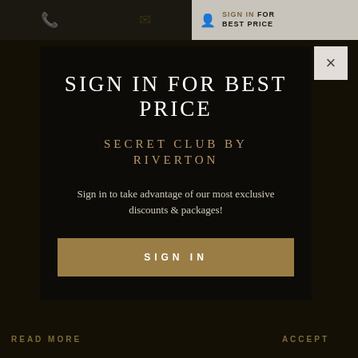[Figure (screenshot): Hotel website background with dark overlay showing top navigation bar with phone icon, mail icon, and 'SIGN IN FOR BEST PRICE' button. Background content is dimmed with dark overlay. Bottom shows 'READ MORE' and 'ACCEPT' text.]
SIGN IN FOR BEST PRICE
SECRET CLUB BY RIVERTON
Sign in to take advantage of our most exclusive discounts & packages!
SIGN IN